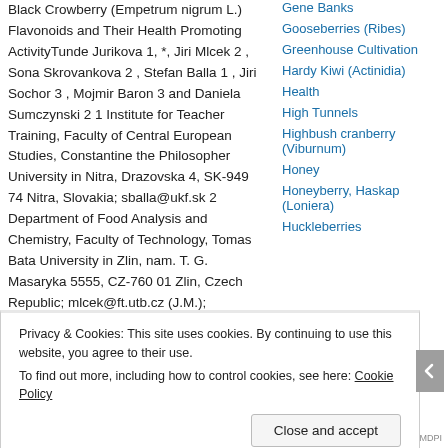Black Crowberry (Empetrum nigrum L.) Flavonoids and Their Health Promoting ActivityTunde Jurikova 1, *, Jiri Mlcek 2, Sona Skrovankova 2, Stefan Balla 1, Jiri Sochor 3, Mojmir Baron 3 and Daniela Sumczynski 2 1 Institute for Teacher Training, Faculty of Central European Studies, Constantine the Philosopher University in Nitra, Drazovska 4, SK-949 74 Nitra, Slovakia; sballa@ukf.sk 2 Department of Food Analysis and Chemistry, Faculty of Technology, Tomas Bata University in Zlin, nam. T. G. Masaryka 5555, CZ-760 01 Zlin, Czech Republic; mlcek@ft.utb.cz (J.M.); skrovankova@ft.utb.cz
Gene Banks
Gooseberries (Ribes)
Greenhouse Cultivation
Hardy Kiwi (Actinidia)
Health
High Tunnels
Highbush cranberry (Viburnum)
Honey
Honeyberry, Haskap (Loniera)
Huckleberries
Privacy & Cookies: This site uses cookies. By continuing to use this website, you agree to their use. To find out more, including how to control cookies, see here: Cookie Policy